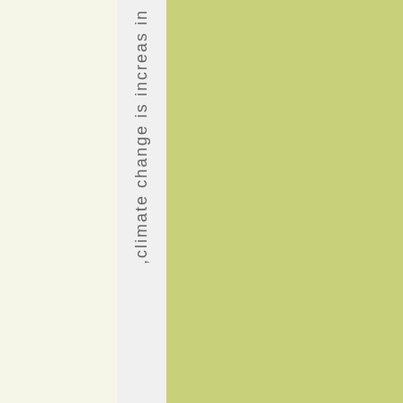,climate change is increas in
[Figure (other): Olive-green colored background panel on the right side of the page]